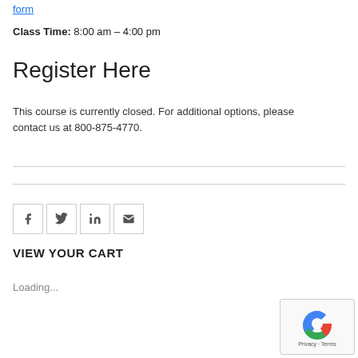form
Class Time: 8:00 am – 4:00 pm
Register Here
This course is currently closed. For additional options, please contact us at 800-875-4770.
VIEW YOUR CART
Loading...